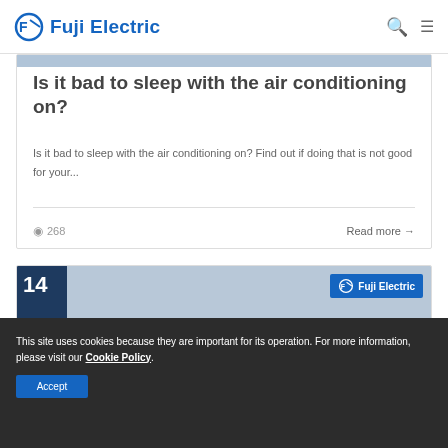Fuji Electric
[Figure (screenshot): Partial top image strip of article card]
Is it bad to sleep with the air conditioning on?
Is it bad to sleep with the air conditioning on? Find out if doing that is not good for your...
268   Read more →
[Figure (photo): Article card showing number 14 badge on left and Fuji Electric logo badge on right, with interior AC unit photo]
This site uses cookies because they are important for its operation. For more information, please visit our Cookie Policy.
Accept